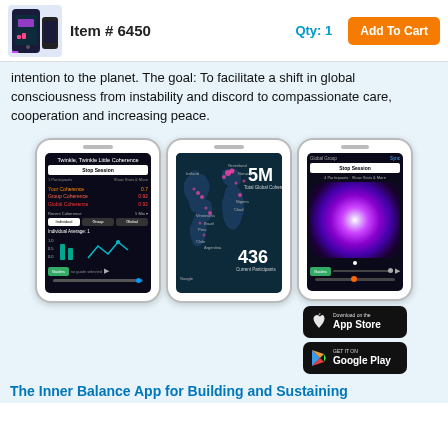Item # 6450  Qty: 1  Add To Cart
intention to the planet. The goal: To facilitate a shift in global consciousness from instability and discord to compassionate care, cooperation and increasing peace.
[Figure (screenshot): Three smartphone screenshots showing a coherence app: (1) Twinkle, Twinkle Little Coherence session screen with coherence metrics, (2) World map showing 5M Total Global Coherence and 436 Current Participants, (3) Purple glowing orb visualization for Global Group session. Below phones: App Store and Google Play download buttons.]
The Inner Balance App for Building and Sustaining